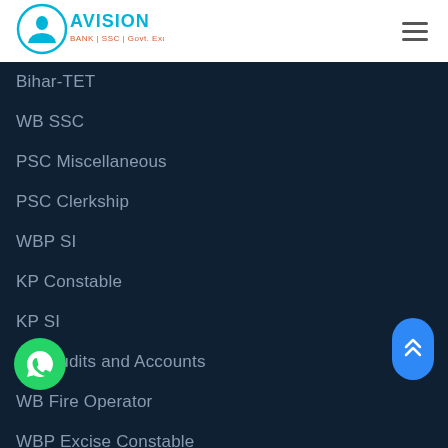[Figure (logo): Avision logo with text BANK | SSC | Govt. Exams]
Bihar-TET
WB SSC
PSC Miscellaneous
PSC Clerkship
WBP SI
KP Constable
KP SI
WB Audits and Accounts
WB Fire Operator
WBP Excise Constable
WB Judicial Services
WBSA
ICDS Supervisor
WBPSC IDO
OPSC